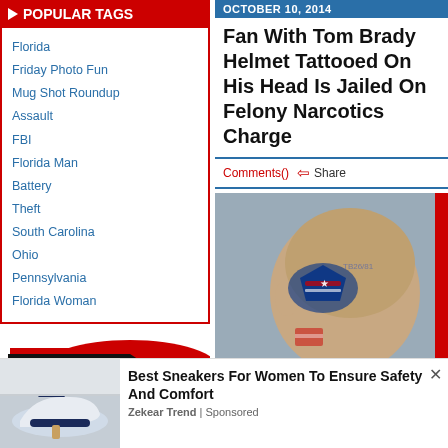POPULAR TAGS
Florida
Friday Photo Fun
Mug Shot Roundup
Assault
FBI
Florida Man
Battery
Theft
South Carolina
Ohio
Pennsylvania
Florida Woman
OCTOBER 10, 2014
Fan With Tom Brady Helmet Tattooed On His Head Is Jailed On Felony Narcotics Charge
Comments() ⇦ Share
[Figure (photo): Mugshot-style photo of a man with a New England Patriots helmet tattoo covering the side and top of his shaved head, with a Tom Brady jersey number and American flag tattoo also visible]
SUBMIT A
Best Sneakers For Women To Ensure Safety And Comfort
Zekear Trend | Sponsored